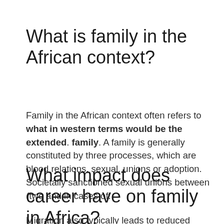What is family in the African context?
Family in the African context often refers to what in western terms would be the extended. family. A family is generally constituted by three processes, which are blood relations, sexual. unions or adoption. Societally sanctioned sexual unions between (two and in cases of.
What impact does career have on family in Africa?
Migration also typically leads to reduced